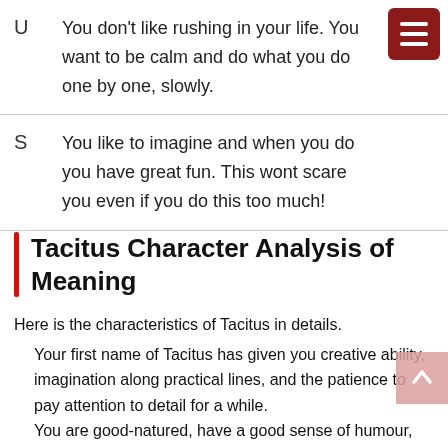U	You don’t like rushing in your life. You want to be calm and do what you do one by one, slowly.
S	You like to imagine and when you do you have great fun. This wont scare you even if you do this too much!
Tacitus Character Analysis of Meaning
Here is the characteristics of Tacitus in details.
Your first name of Tacitus has given you creative ability, imagination along practical lines, and the patience to pay attention to detail for a while.
You are good-natured, have a good sense of humour, and are fairly easy-going, making friends with those who enjoy a good time.